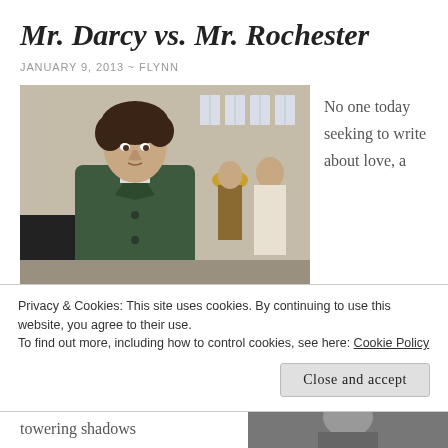Mr. Darcy vs. Mr. Rochester
JANUARY 9, 2013 ~ FLYNN
[Figure (photo): Photo of a man in period costume (green coat, cravat) walking in front of a stone building, two figures in background — likely Colin Firth as Mr. Darcy from Pride and Prejudice BBC adaptation]
No one today seeking to write about love, a
group I must,
[Figure (photo): Black and white partial photo of a man, likely Mr. Rochester from Jane Eyre adaptation]
Privacy & Cookies: This site uses cookies. By continuing to use this website, you agree to their use.
To find out more, including how to control cookies, see here: Cookie Policy
Close and accept
towering shadows